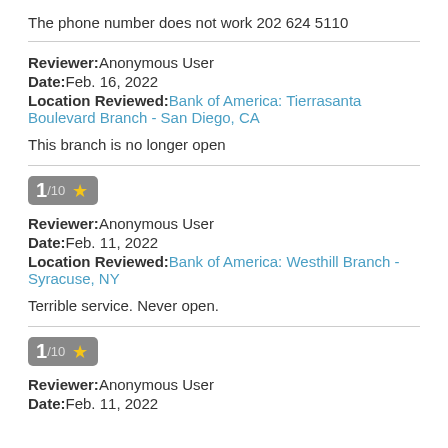The phone number does not work 202 624 5110
Reviewer: Anonymous User
Date: Feb. 16, 2022
Location Reviewed: Bank of America: Tierrasanta Boulevard Branch - San Diego, CA
This branch is no longer open
1/10 ★
Reviewer: Anonymous User
Date: Feb. 11, 2022
Location Reviewed: Bank of America: Westhill Branch - Syracuse, NY
Terrible service. Never open.
1/10 ★
Reviewer: Anonymous User
Date: Feb. 11, 2022